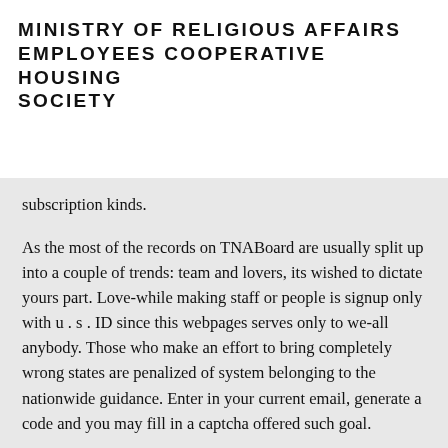MINISTRY OF RELIGIOUS AFFAIRS EMPLOYEES COOPERATIVE HOUSING SOCIETY
subscription kinds.
As the most of the records on TNABoard are usually split up into a couple of trends: team and lovers, its wished to dictate yours part. Love-while making staff or people is signup only with u . s . ID since this webpages serves only to we-all anybody. Those who make an effort to bring completely wrong states are penalized of system belonging to the nationwide guidance. Enter in your current email, generate a code and you may fill in a captcha offered such goal.
Now the girl about time and you may energy to help make your account. Introduce particulars about your local area, industry, and earnings. Inside the